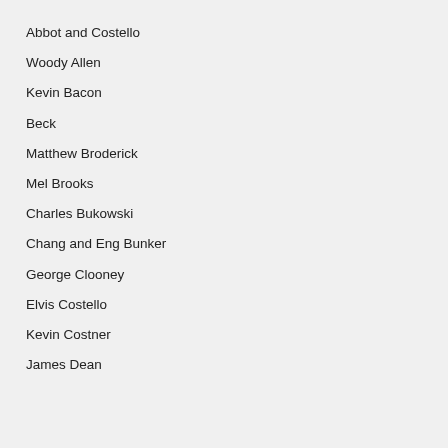Abbot and Costello
Woody Allen
Kevin Bacon
Beck
Matthew Broderick
Mel Brooks
Charles Bukowski
Chang and Eng Bunker
George Clooney
Elvis Costello
Kevin Costner
James Dean